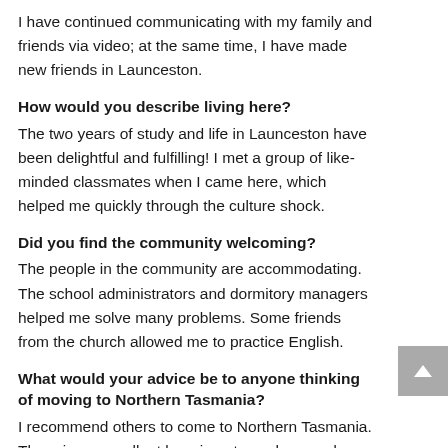I have continued communicating with my family and friends via video; at the same time, I have made new friends in Launceston.
How would you describe living here?
The two years of study and life in Launceston have been delightful and fulfilling! I met a group of like-minded classmates when I came here, which helped me quickly through the culture shock.
Did you find the community welcoming?
The people in the community are accommodating. The school administrators and dormitory managers helped me solve many problems. Some friends from the church allowed me to practice English.
What would your advice be to anyone thinking of moving to Northern Tasmania?
I recommend others to come to Northern Tasmania. There is an excellent learning atmosphere and language environment for